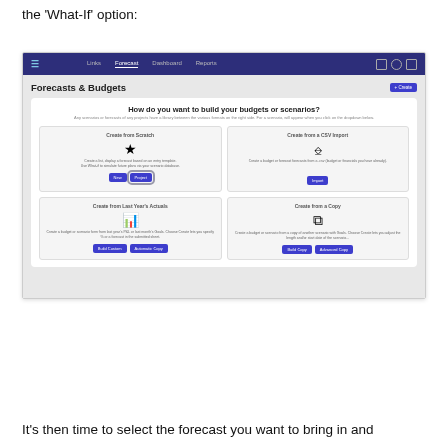the 'What-If' option:
[Figure (screenshot): Screenshot of a financial forecasting application showing 'Forecasts & Budgets' page with four options: Create from Scratch (with a highlighted 'Project' button), Create from a CSV Import, Create from Last Year's Actuals, and Create from a Copy. Each option has an icon, description text, and action buttons.]
It's then time to select the forecast you want to bring in and